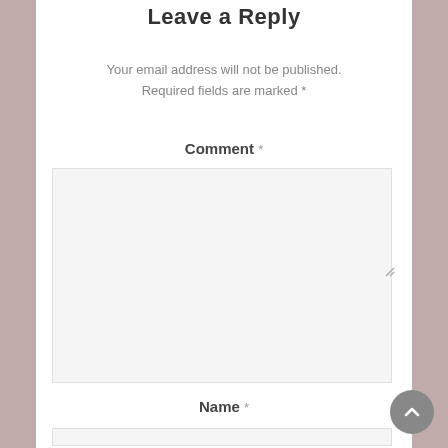Leave a Reply
Your email address will not be published. Required fields are marked *
Comment *
[Figure (other): Comment textarea input box with light gray background and resize handle]
Name *
[Figure (other): Name text input box with light gray background]